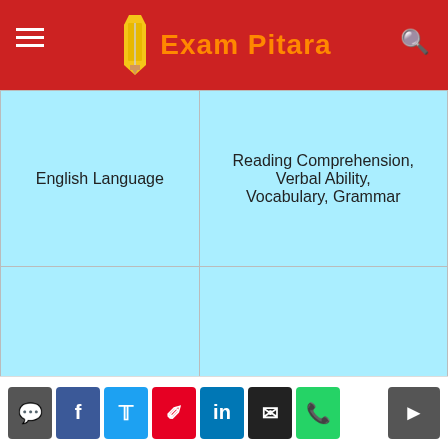Exam Pitara
| Subject | Topics |
| --- | --- |
| English Language | Reading Comprehension, Verbal Ability, Vocabulary, Grammar |
| Reasoning | Verbal Reasoning, Coding and Decoding, Syllogism, Data Sufficiency, Circular Seating Arrangement, Ordering and Ranking, Linear Seating Arrangement, Directions and Distances, Double Lineup, Blood Relations, Scheduling, Input... |
Social share icons and navigation